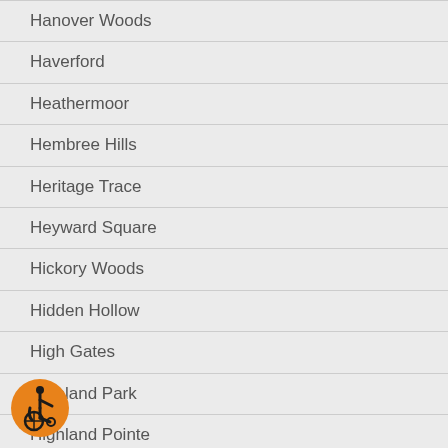Hanover Woods
Haverford
Heathermoor
Hembree Hills
Heritage Trace
Heyward Square
Hickory Woods
Hidden Hollow
High Gates
Highland Park
Highland Pointe
[Figure (illustration): Accessibility icon: orange circle with wheelchair user symbol in black]